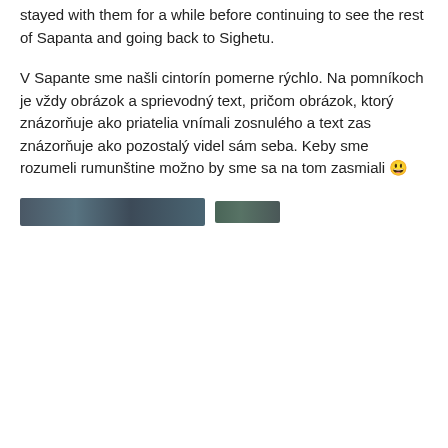stayed with them for a while before continuing to see the rest of Sapanta and going back to Sighetu.
V Sapante sme našli cintorín pomerne rýchlo. Na pomníkoch je vždy obrázok a sprievodný text, pričom obrázok, ktorý znázorňuje ako priatelia vnímali zosnulého a text zas znázorňuje ako pozostalý videl sám seba. Keby sme rozumeli rumunštine možno by sme sa na tom zasmiali 😄
[Figure (photo): Two partially visible cropped photo strips showing what appears to be cemetery or outdoor scenes, rendered as dark blurred image strips.]